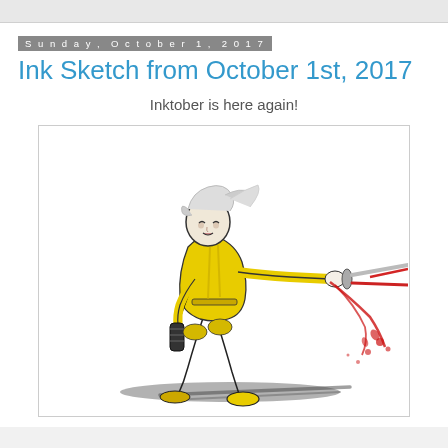Sunday, October 1, 2017
Ink Sketch from October 1st, 2017
Inktober is here again!
[Figure (illustration): Ink and color sketch of a female warrior in a yellow jumpsuit holding a katana with red blood splatter, dynamic action pose, Inktober 2017 artwork.]